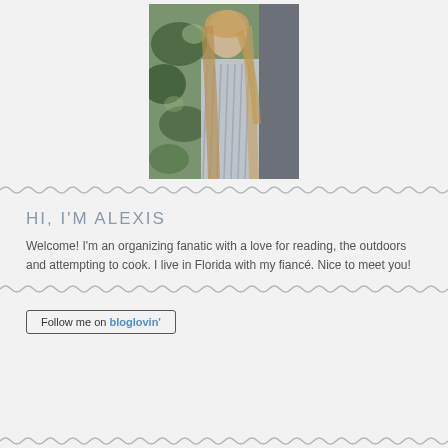[Figure (photo): Young woman with long blonde hair wearing a striped sleeveless dress, standing next to ivy-covered wall]
HI, I'M ALEXIS
Welcome! I'm an organizing fanatic with a love for reading, the outdoors and attempting to cook. I live in Florida with my fiancé. Nice to meet you!
[Figure (other): Follow me on bloglovin' button/badge]